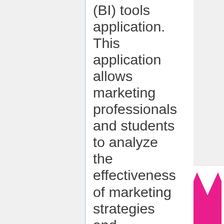(BI) tools application. This application allows marketing professionals and students to analyze the effectiveness of marketing strategies and campaigns being launched in the Magento e-commerce online store.
[Figure (logo): Magento logo — pink/magenta M-shaped icon with the text 'Ma' visible (partially cropped)]